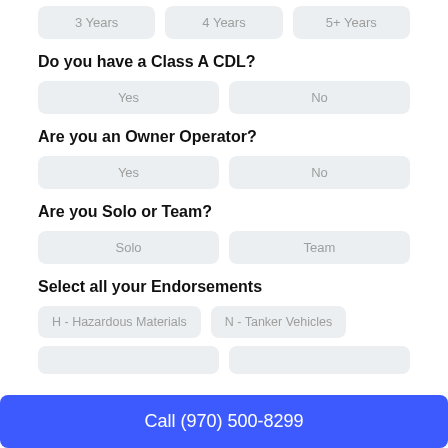3 Years | 4 Years | 5+ Years
Do you have a Class A CDL?
Yes | No
Are you an Owner Operator?
Yes | No
Are you Solo or Team?
Solo | Team
Select all your Endorsements
H - Hazardous Materials | N - Tanker Vehicles
(partially visible buttons)
Call (970) 500-8299